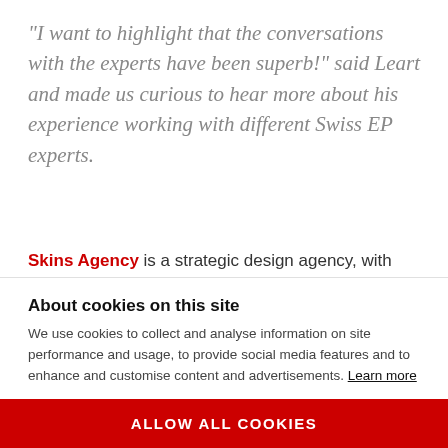"I want to highlight that the conversations with the experts have been superb!" said Leart and made us curious to hear more about his experience working with different Swiss EP experts.
Skins Agency is a strategic design agency, with global outreach based in Prishtina, Kosovo. Founder Leart Zogjani joined ScaleUp Kosovo (a
About cookies on this site
We use cookies to collect and analyse information on site performance and usage, to provide social media features and to enhance and customise content and advertisements. Learn more
ALLOW ALL COOKIES